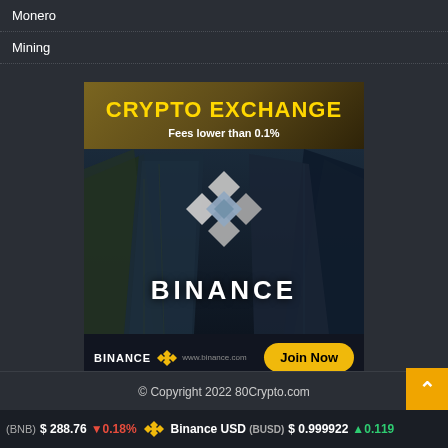Monero
Mining
[Figure (infographic): Binance Crypto Exchange advertisement banner. Gold text 'CRYPTO EXCHANGE' on dark gold header. Subtitle 'Fees lower than 0.1%'. Below: Binance logo (diamond shape) over city skyscraper background. Large 'BINANCE' text. Footer with 'BINANCE www.binance.com' and yellow diamond logo on left, 'Join Now' yellow pill button on right.]
© Copyright 2022 80Crypto.com
(BNB) $ 288.76 ↓0.18%   Binance USD (BUSD) $ 0.999922 ↑0.119